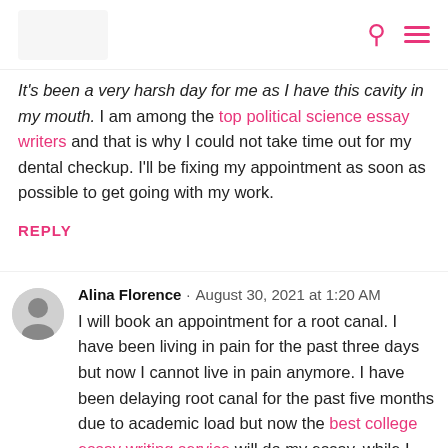[Logo] [Search icon] [Menu icon]
It's been a very harsh day for me as I have this cavity in my mouth. I am among the top political science essay writers and that is why I could not take time out for my dental checkup. I'll be fixing my appointment as soon as possible to get going with my work.
REPLY
Alina Florence · August 30, 2021 at 1:20 AM
I will book an appointment for a root canal. I have been living in pain for the past three days but now I cannot live in pain anymore. I have been delaying root canal for the past five months due to academic load but now the best college essay writing service will do my essay. while I will get my root canal done by the best dentist. I saw your blogs and I think that how much impact simple practices have on your dental health.